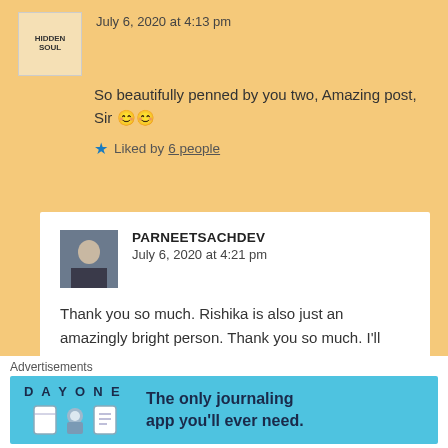July 6, 2020 at 4:13 pm
So beautifully penned by you two, Amazing post, Sir 😊😊
Liked by 6 people
PARNEETSACHDEV
July 6, 2020 at 4:21 pm
Thank you so much. Rishika is also just an amazingly bright person. Thank you so much. I'll convey to her as well
Liked by 2 people
Advertisements
[Figure (infographic): Day One journaling app advertisement banner with light blue background showing app icons and text 'The only journaling app you'll ever need.']